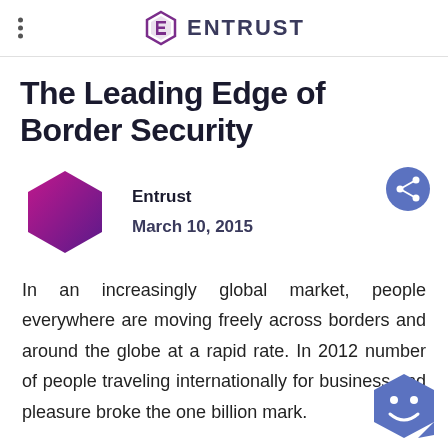ENTRUST
The Leading Edge of Border Security
Entrust
March 10, 2015
In an increasingly global market, people everywhere are moving freely across borders and around the globe at a rapid rate. In 2012 number of people traveling internationally for business and pleasure broke the one billion mark.